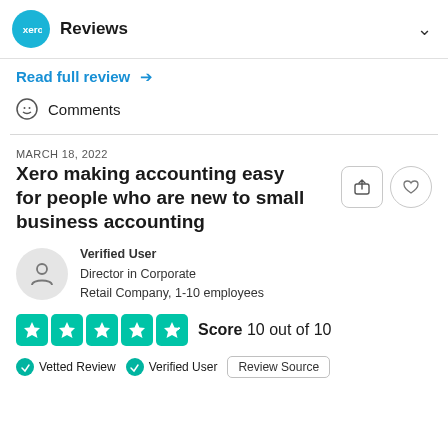xero Reviews
Read full review →
Comments
MARCH 18, 2022
Xero making accounting easy for people who are new to small business accounting
Verified User
Director in Corporate
Retail Company, 1-10 employees
Score 10 out of 10
Vetted Review   Verified User   Review Source